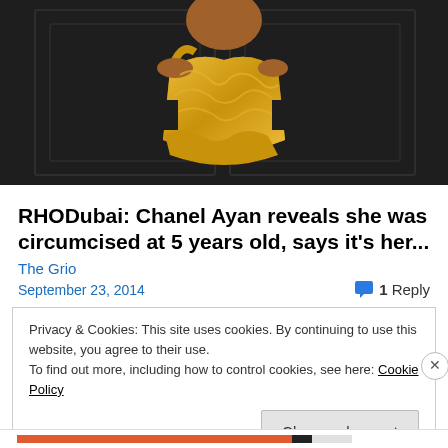[Figure (photo): A person wearing a gold sequined dress against a dark paneled background]
RHODubai: Chanel Ayan reveals she was circumcised at 5 years old, says it's her...
The Grio
September 23, 2014
1 Reply
Privacy & Cookies: This site uses cookies. By continuing to use this website, you agree to their use.
To find out more, including how to control cookies, see here: Cookie Policy
Close and accept